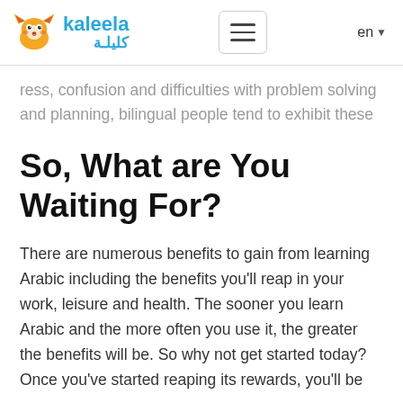kaleela / كليلة — navigation header with logo, hamburger menu, and language selector (en)
ress, confusion and difficulties with problem solving and planning, bilingual people tend to exhibit these warning signs much later than those who only speak one language.
So, What are You Waiting For?
There are numerous benefits to gain from learning Arabic including the benefits you'll reap in your work, leisure and health. The sooner you learn Arabic and the more often you use it, the greater the benefits will be. So why not get started today? Once you've started reaping its rewards, you'll be glad you